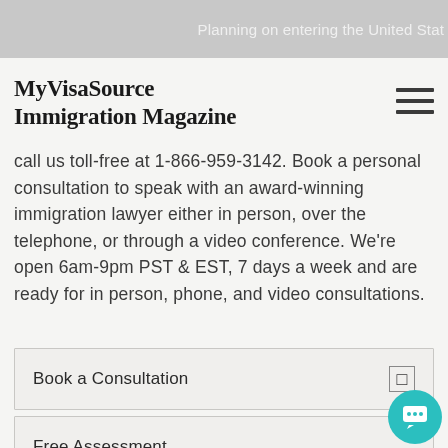Planning on entering the United Stat
MyVisaSource Immigration Magazine
call us toll-free at 1-866-959-3142. Book a personal consultation to speak with an award-winning immigration lawyer either in person, over the telephone, or through a video conference. We're open 6am-9pm PST & EST, 7 days a week and are ready for in person, phone, and video consultations.
Book a Consultation
Free Assessment